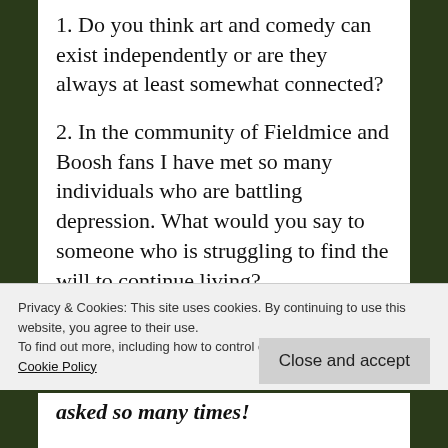1. Do you think art and comedy can exist independently or are they always at least somewhat connected?
2. In the community of Fieldmice and Boosh fans I have met so many individuals who are battling depression. What would you say to someone who is struggling to find the will to continue living?
Privacy & Cookies: This site uses cookies. By continuing to use this website, you agree to their use.
To find out more, including how to control cookies, see here: Cookie Policy
Close and accept
asked so many times!